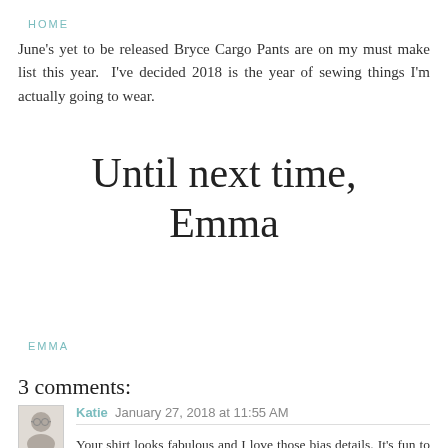HOME
June's yet to be released Bryce Cargo Pants are on my must make list this year. I've decided 2018 is the year of sewing things I'm actually going to wear.
[Figure (illustration): Cursive handwritten-style signature reading 'Until next time, Emma']
EMMA
3 comments:
Katie January 27, 2018 at 11:55 AM
Your shirt looks fabulous and I love those bias details. It's fun to make 'ordinary' clothes, isn't it? They're